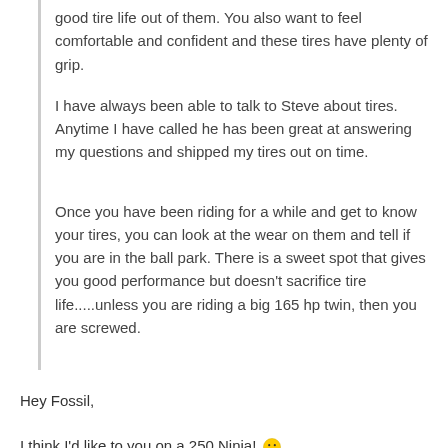good tire life out of them. You also want to feel comfortable and confident and these tires have plenty of grip.
I have always been able to talk to Steve about tires. Anytime I have called he has been great at answering my questions and shipped my tires out on time.
Once you have been riding for a while and get to know your tires, you can look at the wear on them and tell if you are in the ball park. There is a sweet spot that gives you good performance but doesn't sacrifice tire life.....unless you are riding a big 165 hp twin, then you are screwed.
Hey Fossil,
I think I'd like to you on a 250 Ninja! 🙂